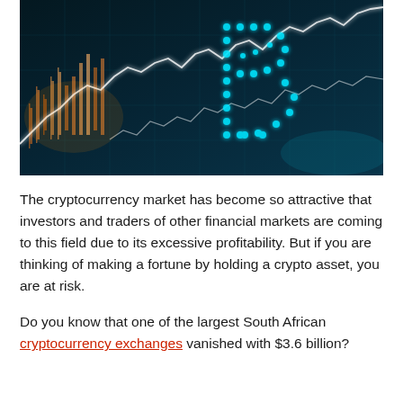[Figure (photo): Dark financial/crypto trading chart background with glowing cyan Bitcoin symbol made of dots, and white candlestick/line charts overlaid on a dark teal grid display]
The cryptocurrency market has become so attractive that investors and traders of other financial markets are coming to this field due to its excessive profitability. But if you are thinking of making a fortune by holding a crypto asset, you are at risk.
Do you know that one of the largest South African cryptocurrency exchanges vanished with $3.6 billion?